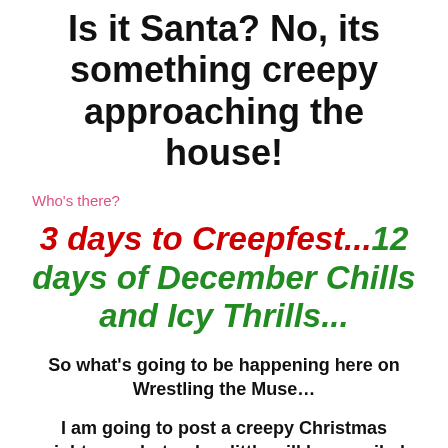Is it Santa? No, its something creepy approaching the house!
Who's there?
3 days to Creepfest...12 days of December Chills and Icy Thrills...
So what's going to be happening here on Wrestling the Muse…
I am going to post a creepy Christmas nightmare, but only a little will be unveiled every day of the Creepfest…
There will also be some guest bloggers joining